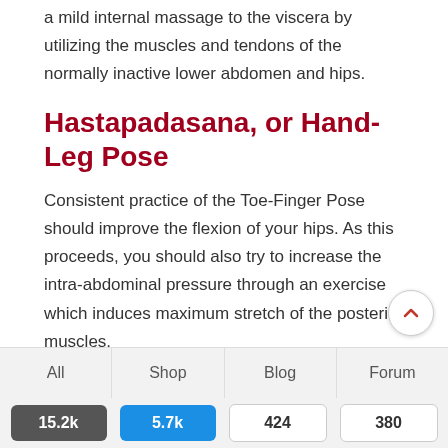a mild internal massage to the viscera by utilizing the muscles and tendons of the normally inactive lower abdomen and hips.
Hastapadasana, or Hand-Leg Pose
Consistent practice of the Toe-Finger Pose should improve the flexion of your hips. As this proceeds, you should also try to increase the intra-abdominal pressure through an exercise which induces maximum stretch of the posterior muscles.
This may be achieved by utilizing the Yoga Hand-Leg Pose, or Hastapadasana, and its variations.
All 15.2k | Shop 5.7k | Blog 424 | Forum 380